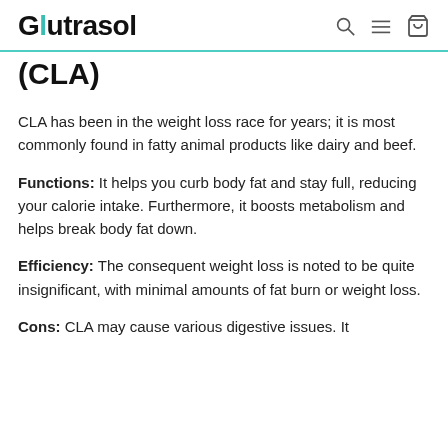Glutrasol
(CLA)
CLA has been in the weight loss race for years; it is most commonly found in fatty animal products like dairy and beef.
Functions: It helps you curb body fat and stay full, reducing your calorie intake. Furthermore, it boosts metabolism and helps break body fat down.
Efficiency: The consequent weight loss is noted to be quite insignificant, with minimal amounts of fat burn or weight loss.
Cons: CLA may cause various digestive issues. It